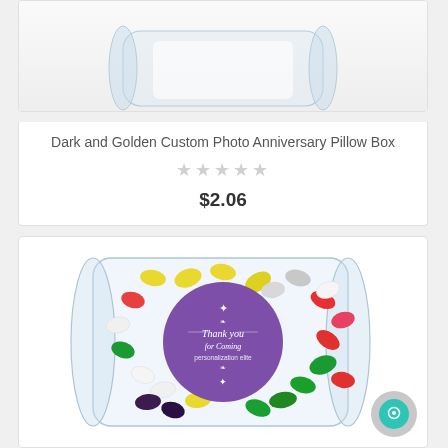[Figure (photo): Product card showing Dark and Golden Custom Photo Anniversary Pillow Box - transparent pillow box packaging product image cropped at top]
Dark and Golden Custom Photo Anniversary Pillow Box
★★★★★ (empty stars rating)
$2.06
[Figure (photo): Product card showing a clear pillow box filled with colorful jelly beans (yellow, gray, red, green, white, dark purple/black) with a purple circular label reading Thank you for Coming]